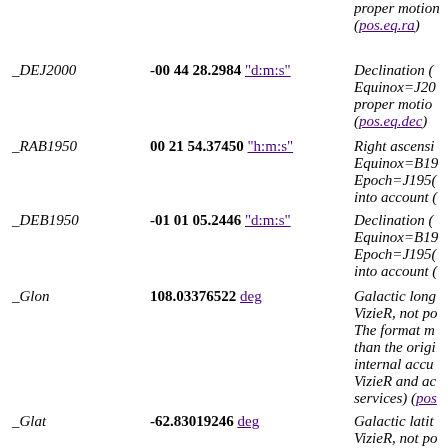proper motion (pos.eq.ra)
| Field | Value | Description |
| --- | --- | --- |
| _DEJ2000 | -00 44 28.2984 "d:m:s" | Declination (pos.eq.dec) Equinox=J2000 proper motion (pos.eq.dec) |
| _RAB1950 | 00 21 54.37450 "h:m:s" | Right ascension Equinox=B1950 Epoch=J1950 into account ( |
| _DEB1950 | -01 01 05.2446 "d:m:s" | Declination ( Equinox=B1950 Epoch=J1950 into account ( |
| _Glon | 108.03376522 deg | Galactic long VizieR, not po The format m than the orig internal accu VizieR and ac services) (pos |
| _Glat | -62.83019246 deg | Galactic latit VizieR, not po The format m |